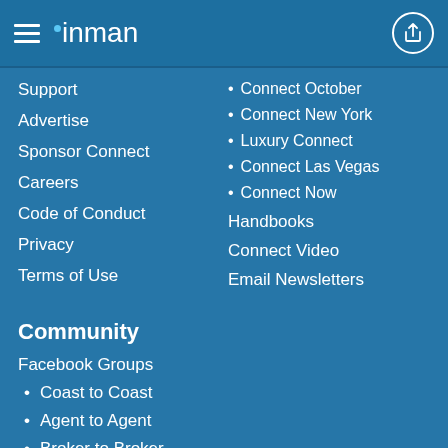inman
Support
Advertise
Sponsor Connect
Careers
Code of Conduct
Privacy
Terms of Use
Connect October
Connect New York
Luxury Connect
Connect Las Vegas
Connect Now
Handbooks
Connect Video
Email Newsletters
Community
Facebook Groups
Coast to Coast
Agent to Agent
Broker to Broker
Vendor to Vendor